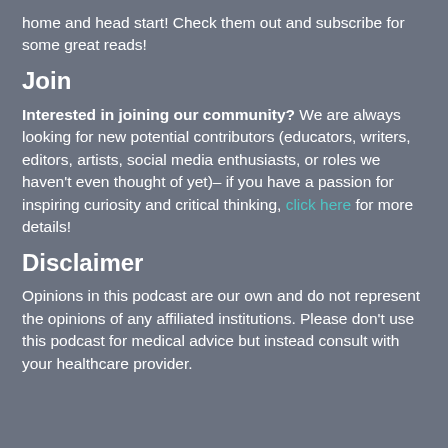home and head start! Check them out and subscribe for some great reads!
Join
Interested in joining our community? We are always looking for new potential contributors (educators, writers, editors, artists, social media enthusiasts, or roles we haven't even thought of yet)– if you have a passion for inspiring curiosity and critical thinking, click here for more details!
Disclaimer
Opinions in this podcast are our own and do not represent the opinions of any affiliated institutions. Please don't use this podcast for medical advice but instead consult with your healthcare provider.